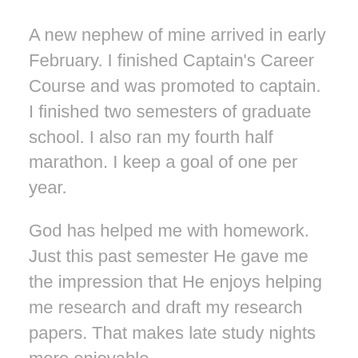A new nephew of mine arrived in early February. I finished Captain's Career Course and was promoted to captain. I finished two semesters of graduate school. I also ran my fourth half marathon. I keep a goal of one per year.
God has helped me with homework. Just this past semester He gave me the impression that He enjoys helping me research and draft my research papers. That makes late study nights more enjoyable.
He has helped me understand His love for people more, and He has freed me in many ways. This year has been a very blessed and full year.
No single scripture comes to mind for 2018. Instead, I'm reminded of the many times that God has given